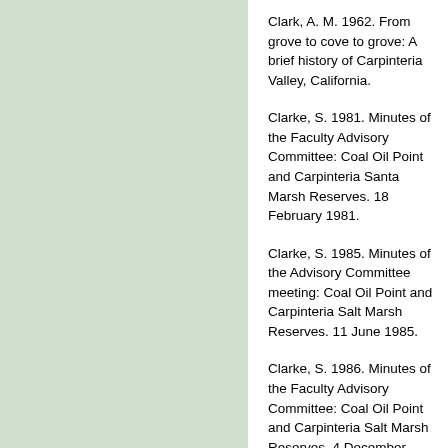Clark, A. M. 1962. From grove to cove to grove: A brief history of Carpinteria Valley, California.
Clarke, S. 1981. Minutes of the Faculty Advisory Committee: Coal Oil Point and Carpinteria Santa Marsh Reserves. 18 February 1981.
Clarke, S. 1985. Minutes of the Advisory Committee meeting: Coal Oil Point and Carpinteria Salt Marsh Reserves. 11 June 1985.
Clarke, S. 1986. Minutes of the Faculty Advisory Committee: Coal Oil Point and Carpinteria Salt Marsh Reserves. 4 December 1986.